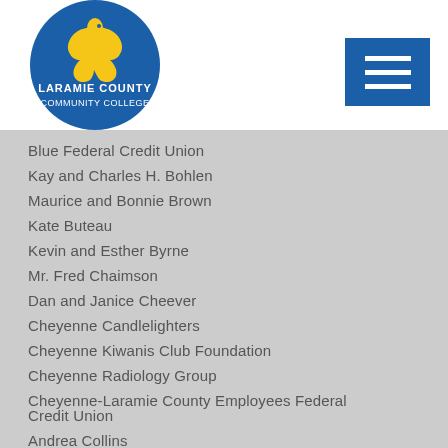Laramie County Community College
Blue Federal Credit Union
Kay and Charles H. Bohlen
Maurice and Bonnie Brown
Kate Buteau
Kevin and Esther Byrne
Mr. Fred Chaimson
Dan and Janice Cheever
Cheyenne Candlelighters
Cheyenne Kiwanis Club Foundation
Cheyenne Radiology Group
Cheyenne-Laramie County Employees Federal Credit Union
Andrea Collins
Jeff Collins and Sarah Taber
Mrs. Peter S. Cook II
Cowboy South Bar
Cowgirls of the West